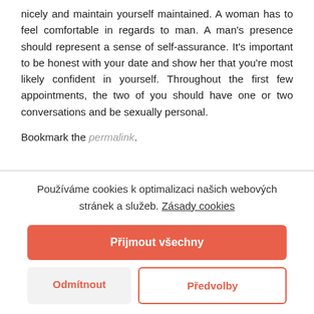nicely and maintain yourself maintained. A woman has to feel comfortable in regards to man. A man's presence should represent a sense of self-assurance. It's important to be honest with your date and show her that you're most likely confident in yourself. Throughout the first few appointments, the two of you should have one or two conversations and be sexually personal.
Bookmark the permalink.
Používáme cookies k optimalizaci našich webových stránek a služeb. Zásady cookies
Přijmout všechny
Odmítnout
Předvolby